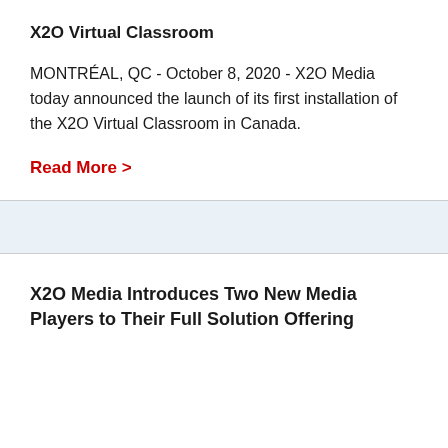X2O Virtual Classroom
MONTRÉAL, QC - October 8, 2020 - X2O Media today announced the launch of its first installation of the X2O Virtual Classroom in Canada.
Read More >
X2O Media Introduces Two New Media Players to Their Full Solution Offering